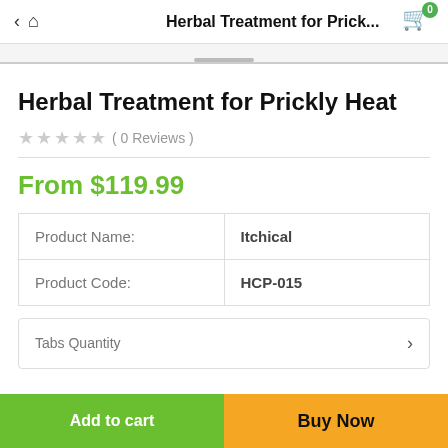Herbal Treatment for Prick...
Herbal Treatment for Prickly Heat
★★★★★ ( 0 Reviews )
From $119.99
|  |  |
| --- | --- |
| Product Name: | Itchical |
| Product Code: | HCP-015 |
Tabs Quantity
Add to cart
Buy Now